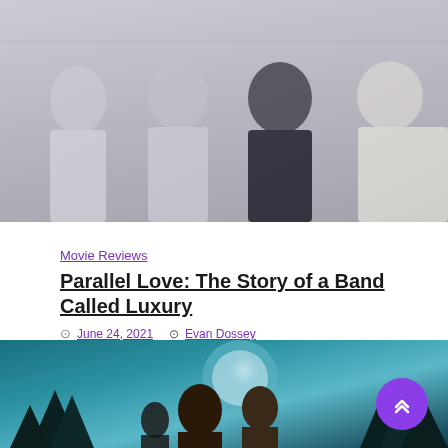[Figure (photo): Black and white photo of four young men standing in front of a light brick wall, wearing white and black t-shirts.]
Movie Reviews
Parallel Love: The Story of a Band Called Luxury
June 24, 2021   Evan Dossey
Parallel Love: The Story of a Band Called Luxury is basically an infomercial for Luxury, a mid-'90s Georgia rock band that briefly flirted with wider success before its members' lives took a different turn.... continue
[Figure (photo): Color movie still showing figures against a teal/blue moonlit background with pine trees.]